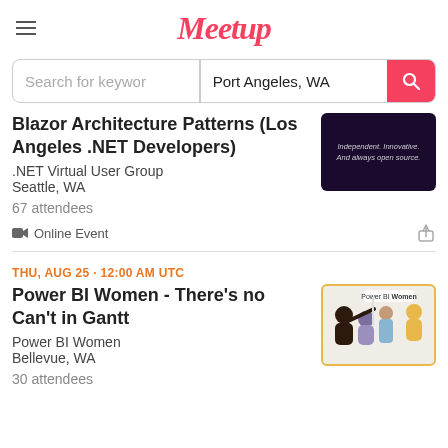Meetup
Search for keywords | Port Angeles, WA
Blazor Architecture Patterns (Los Angeles .NET Developers)
.NET Virtual User Group
Seattle, WA
67 attendees
Online Event
THU, AUG 25 · 12:00 AM UTC
Power BI Women - There's no Can't in Gantt
Power BI Women
Bellevue, WA
30 attendees